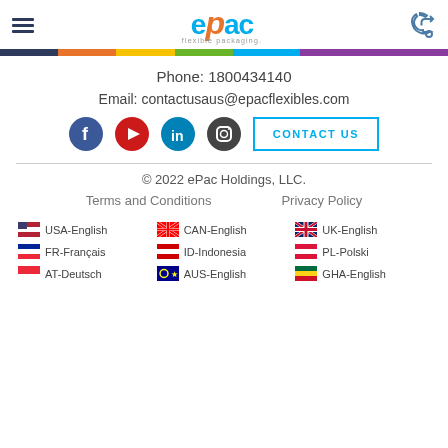[Figure (logo): ePac flexible packaging logo with hamburger menu and phone icon in header]
Phone: 1800434140
Email: contactusaus@epacflexibles.com
[Figure (infographic): Social media icons (Facebook, YouTube, LinkedIn, Instagram) and CONTACT US button]
© 2022 ePac Holdings, LLC.
Terms and Conditions    Privacy Policy
🇺🇸 USA-English  🇨🇦 CAN-English  🇬🇧 UK-English  🇫🇷 FR-Français  🇮🇩 ID-Indonesia  🇵🇱 PL-Polski  🇦🇹 AT-Deutsch  🇦🇺 AUS-English  🇬🇭 GHA-English